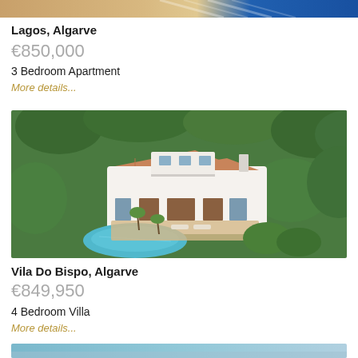[Figure (photo): Partial aerial or exterior photo of Lagos Algarve property, cropped at top]
Lagos, Algarve
€850,000
3 Bedroom Apartment
More details...
[Figure (photo): Aerial view of a white villa with terracotta roof tile, swimming pool, and lush green garden in Vila Do Bispo, Algarve]
Vila Do Bispo, Algarve
€849,950
4 Bedroom Villa
More details...
[Figure (photo): Partial photo at bottom of page showing coastal or landscape view]